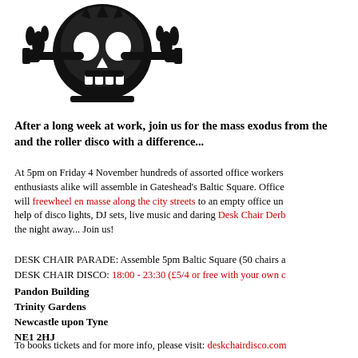[Figure (illustration): Black and white illustration of a skull with crossed tools/wrenches and decorative elements, like a pirate-style logo]
After a long week at work, join us for the mass exodus from the and the roller disco with a difference...
At 5pm on Friday 4 November hundreds of assorted office workers enthusiasts alike will assemble in Gateshead's Baltic Square. Office will freewheel en masse along the city streets to an empty office un help of disco lights, DJ sets, live music and daring Desk Chair Derb the night away... Join us!
DESK CHAIR PARADE: Assemble 5pm Baltic Square (50 chairs a DESK CHAIR DISCO: 18:00 - 23:30 (£5/4 or free with your own c
Pandon Building
Trinity Gardens
Newcastle upon Tyne
NE1 2HJ
To books tickets and for more info, please visit: deskchairdisco.com